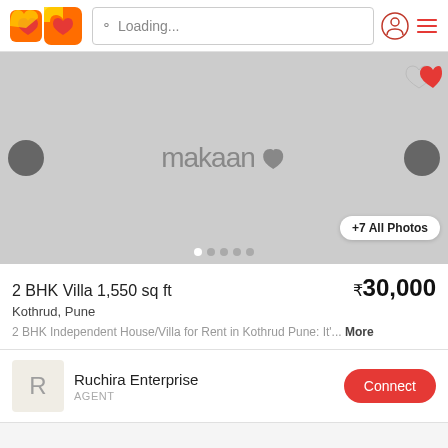Loading...
[Figure (screenshot): Makaan.com property listing image placeholder with carousel navigation arrows and dots]
2 BHK Villa 1,550 sq ft
₹30,000
Kothrud, Pune
2 BHK Independent House/Villa for Rent in Kothrud Pune: It'... More
Ruchira Enterprise
AGENT
Connect